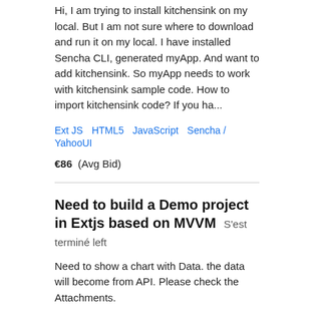Hi, I am trying to install kitchensink on my local. But I am not sure where to download and run it on my local. I have installed Sencha CLI, generated myApp. And want to add kitchensink. So myApp needs to work with kitchensink sample code. How to import kitchensink code? If you ha...
Ext JS   HTML5   JavaScript   Sencha / YahooUI
€86  (Avg Bid)
Need to build a Demo project in Extjs based on MVVM  S&#039;est terminé left
Need to show a chart with Data. the data will become from API. Please check the Attachments.
Ext JS   JavaScript
€198  (Avg Bid)
EXT.JS Designer  S&#039;est terminé left